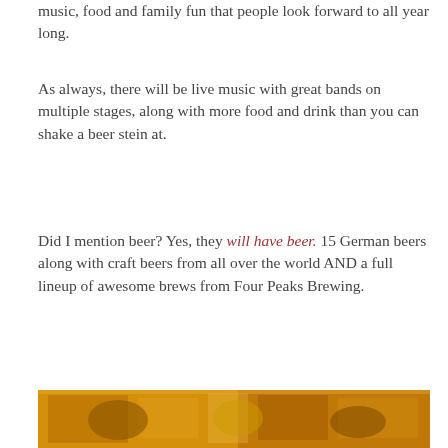music, food and family fun that people look forward to all year long.
As always, there will be live music with great bands on multiple stages, along with more food and drink than you can shake a beer stein at.
Did I mention beer? Yes, they will have beer. 15 German beers along with craft beers from all over the world AND a full lineup of awesome brews from Four Peaks Brewing.
[Figure (photo): Photo of people at what appears to be an Oktoberfest event, beer hall setting with warm amber lighting]